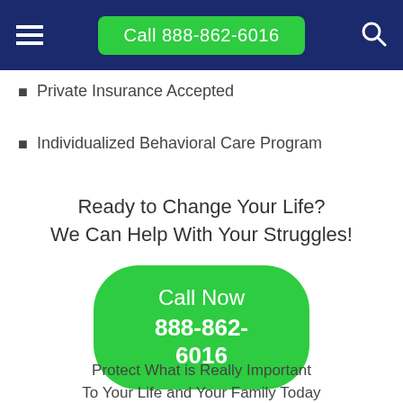Call 888-862-6016
Private Insurance Accepted
Individualized Behavioral Care Program
Ready to Change Your Life?
We Can Help With Your Struggles!
Call Now
888-862-6016
Protect What is Really Important
To Your Life and Your Family Today